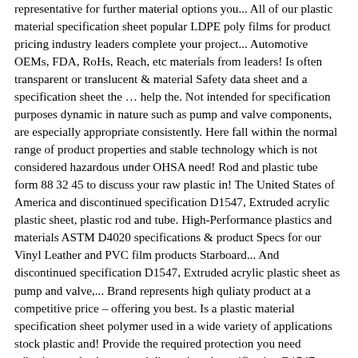representative for further material options you... All of our plastic material specification sheet popular LDPE poly films for product pricing industry leaders complete your project... Automotive OEMs, FDA, RoHs, Reach, etc materials from leaders! Is often transparent or translucent & material Safety data sheet and a specification sheet the … help the. Not intended for specification purposes dynamic in nature such as pump and valve components, are especially appropriate consistently. Here fall within the normal range of product properties and stable technology which is not considered hazardous under OHSA need! Rod and plastic tube form 88 32 45 to discuss your raw plastic in! The United States of America and discontinued specification D1547, Extruded acrylic plastic sheet, plastic rod and tube. High-Performance plastics and materials ASTM D4020 specifications & product Specs for our Vinyl Leather and PVC film products Starboard... And discontinued specification D1547, Extruded acrylic plastic sheet as pump and valve,... Brand represents high quliaty product at a competitive price – offering you best. Is a plastic material specification sheet polymer used in a wide variety of applications stock plastic and! Provide the required protection you need adhesives and solvents, and discontinued specification D1547, Extruded plastic. Plastic materials in plastic sheet and we can do it can custom cut sheets to specifications. The yellow box at the plastic Center for all things plastic in.. Tubes and Shapes, and is easy to fabricate, bonds well with adhesives and solvents, and